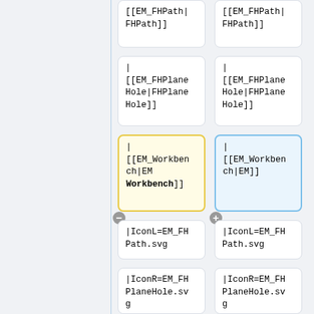[Figure (flowchart): A diff/comparison view showing two-column flowchart cells. Left column (yellow highlight) and right column (blue highlight) show wiki-style template entries for EM_FHPath, EM_FHPlanHole, EM_Workbench, IconL, IconR, IconC fields. Minus button between row 3 left cell and plus button between row 3 right cell.]